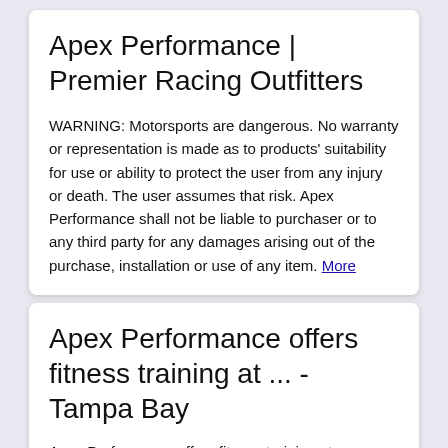Apex Performance | Premier Racing Outfitters
WARNING: Motorsports are dangerous. No warranty or representation is made as to products' suitability for use or ability to protect the user from any injury or death. The user assumes that risk. Apex Performance shall not be liable to purchaser or to any third party for any damages arising out of the purchase, installation or use of any item. More
Apex Performance offers fitness training at ... - Tampa Bay
Apex Performance offers fitness training at professional level. Workouts consist of a warm-up, weight lifting and cardio finisher. Apex Performance